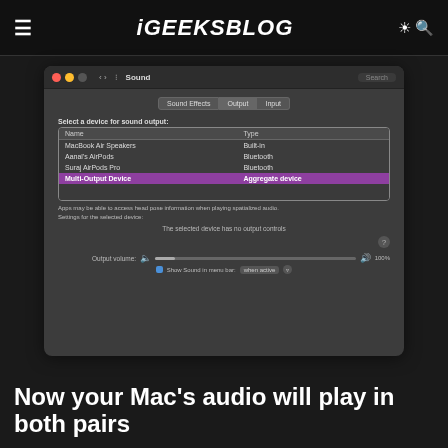iGEEKSBLOG
[Figure (screenshot): macOS System Preferences Sound panel showing Output tab. A table lists audio devices: MacBook Air Speakers (Built-in), Aanal's AirPods (Bluetooth), Suraj AirPods Pro (Bluetooth), and Multi-Output Device (Aggregate device) which is highlighted in purple. Below the table: 'Apps may be able to access head pose information when playing spatialized audio.' Settings for the selected device: 'The selected device has no output controls'. Output volume slider and Show Sound in menu bar checkbox are at the bottom.]
Now your Mac’s audio will play in both pairs